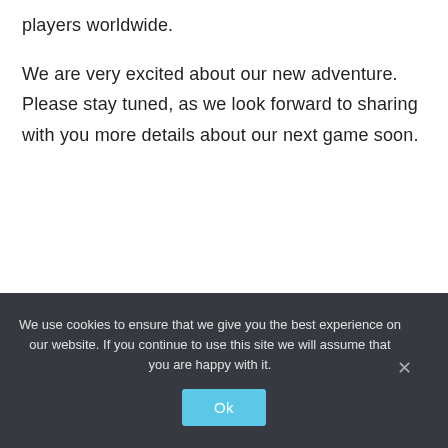players worldwide.
We are very excited about our new adventure. Please stay tuned, as we look forward to sharing with you more details about our next game soon.
We use cookies to ensure that we give you the best experience on our website. If you continue to use this site we will assume that you are happy with it.